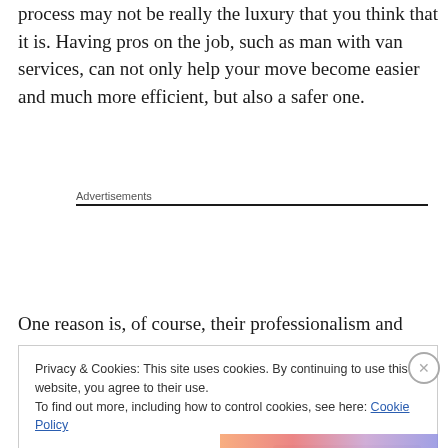process may not be really the luxury that you think that it is. Having pros on the job, such as man with van services, can not only help your move become easier and much more efficient, but also a safer one.
Advertisements
One reason is, of course, their professionalism and
Privacy & Cookies: This site uses cookies. By continuing to use this website, you agree to their use.
To find out more, including how to control cookies, see here: Cookie Policy